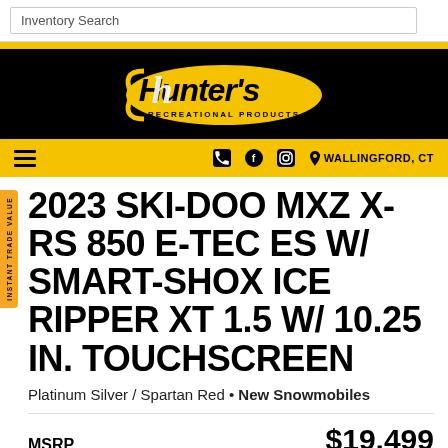Inventory Search
[Figure (logo): Hunter's Recreational Products logo - yellow oval with black script text on black background]
WALLINGFORD, CT
2023 SKI-DOO MXZ X-RS 850 E-TEC ES W/ SMART-SHOX ICE RIPPER XT 1.5 W/ 10.25 IN. TOUCHSCREEN
Platinum Silver / Spartan Red • New Snowmobiles
MSRP $19,499
CALL NOW!